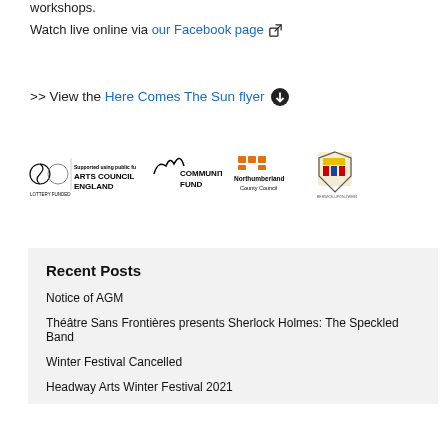workshops.
Watch live online via our Facebook page [external link icon]
>> View the Here Comes The Sun flyer [download icon]
[Figure (logo): Arts Council England - Lottery Funded logo, Community Fund lottery logo, Northumberland County Council logo, and one more council/organization logo]
Recent Posts
Notice of AGM
Théâtre Sans Frontières presents Sherlock Holmes: The Speckled Band
Winter Festival Cancelled
Headway Arts Winter Festival 2021